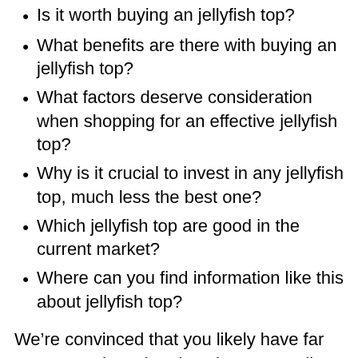Is it worth buying an jellyfish top?
What benefits are there with buying an jellyfish top?
What factors deserve consideration when shopping for an effective jellyfish top?
Why is it crucial to invest in any jellyfish top, much less the best one?
Which jellyfish top are good in the current market?
Where can you find information like this about jellyfish top?
We’re convinced that you likely have far more questions than just these regarding jellyfish top, and the only real way to satisfy your need for knowledge is to get information from as many reputable online